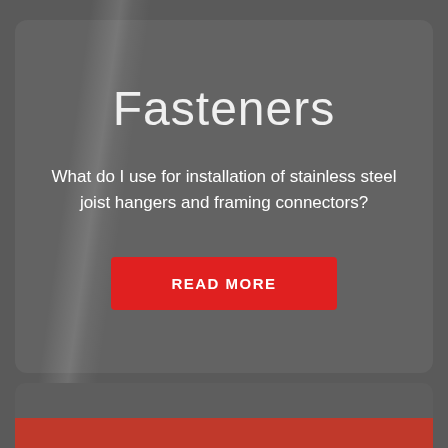Fasteners
What do I use for installation of stainless steel joist hangers and framing connectors?
READ MORE